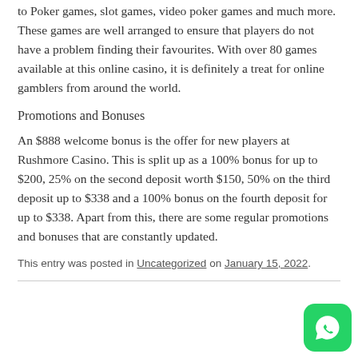to Poker games, slot games, video poker games and much more. These games are well arranged to ensure that players do not have a problem finding their favourites. With over 80 games available at this online casino, it is definitely a treat for online gamblers from around the world.
Promotions and Bonuses
An $888 welcome bonus is the offer for new players at Rushmore Casino. This is split up as a 100% bonus for up to $200, 25% on the second deposit worth $150, 50% on the third deposit up to $338 and a 100% bonus on the fourth deposit for up to $338. Apart from this, there are some regular promotions and bonuses that are constantly updated.
This entry was posted in Uncategorized on January 15, 2022.
[Figure (logo): WhatsApp button icon — green rounded square with white WhatsApp phone logo]